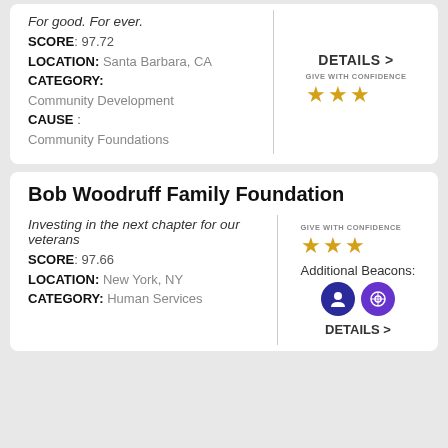For good. For ever.
SCORE: 97.72
LOCATION: Santa Barbara, CA
CATEGORY: Community Development
CAUSE : Community Foundations
DETAILS >
[Figure (other): Give With Confidence 3-star rating badge with gold stars]
Bob Woodruff Family Foundation
Investing in the next chapter for our veterans
SCORE: 97.66
LOCATION: New York, NY
CATEGORY: Human Services
Additional Beacons:
[Figure (other): Give With Confidence 3-star rating with additional beacon icons and DETAILS link]